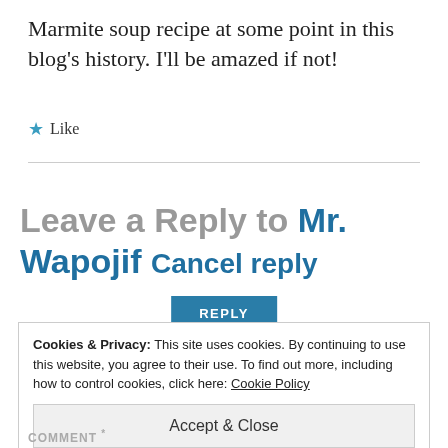Marmite soup recipe at some point in this blog's history. I'll be amazed if not!
★ Like
REPLY
Leave a Reply to Mr. Wapojif Cancel reply
Cookies & Privacy: This site uses cookies. By continuing to use this website, you agree to their use. To find out more, including how to control cookies, click here: Cookie Policy
Accept & Close
COMMENT *